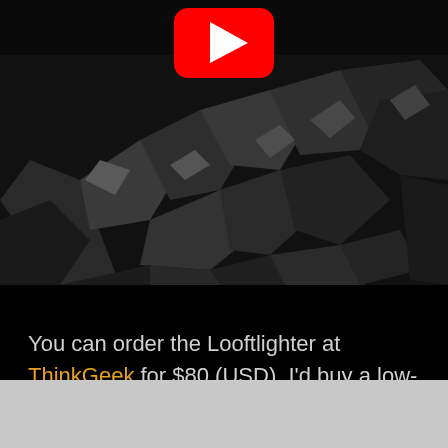[Figure (screenshot): YouTube video thumbnail showing charcoal/coal pieces in black and white, with a red YouTube play button icon at the top center]
You can order the Looftlighter at ThinkGeek for $80 (USD). I'd buy a low-powered version of this so I can use it for pranks.